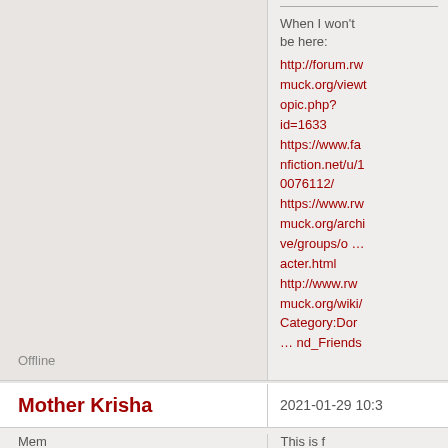When I won't be here: http://forum.rwmuck.org/viewtopic.php?id=1633 https://www.fanfiction.net/u/10076112/ https://www.rwmuck.org/archive/groups/o … acter.html http://www.rwmuck.org/wiki/Category:Dor … nd_Friends
Offline
Mother Krisha
2021-01-29 10:3